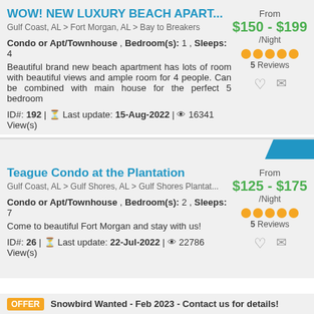WOW! NEW LUXURY BEACH APART...
Gulf Coast, AL > Fort Morgan, AL > Bay to Breakers
Condo or Apt/Townhouse , Bedroom(s): 1 , Sleeps: 4
Beautiful brand new beach apartment has lots of room with beautiful views and ample room for 4 people. Can be combined with main house for the perfect 5 bedroom
ID#: 192 | Last update: 15-Aug-2022 | 16341 View(s)
From
$150 - $199
/Night
5 Reviews
Teague Condo at the Plantation
Gulf Coast, AL > Gulf Shores, AL > Gulf Shores Plantat...
Condo or Apt/Townhouse , Bedroom(s): 2 , Sleeps: 7
Come to beautiful Fort Morgan and stay with us!
ID#: 26 | Last update: 22-Jul-2022 | 22786 View(s)
From
$125 - $175
/Night
5 Reviews
OFFER Snowbird Wanted - Feb 2023 - Contact us for details!
Special offer period: Jul 14, 2022 - Dec 31, 2022